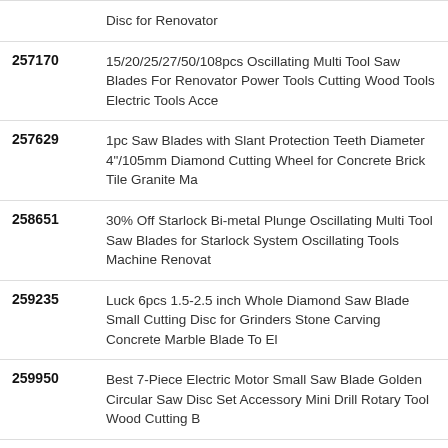| ID | Description |
| --- | --- |
|  | Disc for Renovator |
| 257170 | 15/20/25/27/50/108pcs Oscillating Multi Tool Saw Blades For Renovator Power Tools Cutting Wood Tools Electric Tools Acce |
| 257629 | 1pc Saw Blades with Slant Protection Teeth Diameter 4"/105mm Diamond Cutting Wheel for Concrete Brick Tile Granite Ma |
| 258651 | 30% Off Starlock Bi-metal Plunge Oscillating Multi Tool Saw Blades for Starlock System Oscillating Tools Machine Renovat |
| 259235 | Luck 6pcs 1.5-2.5 inch Whole Diamond Saw Blade Small Cutting Disc for Grinders Stone Carving Concrete Marble Blade To El |
| 259950 | Best 7-Piece Electric Motor Small Saw Blade Golden Circular Saw Disc Set Accessory Mini Drill Rotary Tool Wood Cutting B |
| 260784 | China Ceramic dry cutting 105*1.2mm diamond ultra-thin ceramic cutting discs 10pcs freeshipping |
| 261964 | 25pcs/set Oscillating Multitool Saw Blade with Bi-metal |